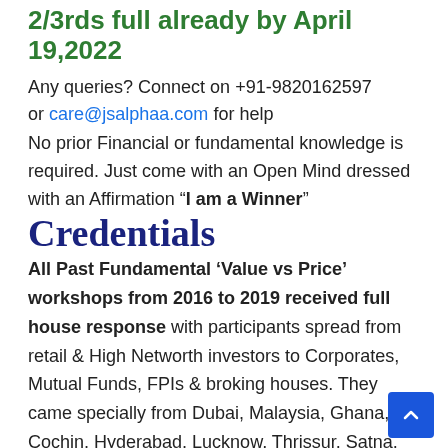2/3rds full already by April 19,2022
Any queries? Connect on +91-9820162597 or care@jsalphaa.com for help
No prior Financial or fundamental knowledge is required. Just come with an Open Mind dressed with an Affirmation “I am a Winner”
Credentials
All Past Fundamental ‘Value vs Price’ workshops from 2016 to 2019 received full house response with participants spread from retail & High Networth investors to Corporates, Mutual Funds, FPIs & broking houses. They came specially from Dubai, Malaysia, Ghana, Cochin, Hyderabad, Lucknow, Thrissur, Satna, Sangli, Allahabad, Gokak, Pune,